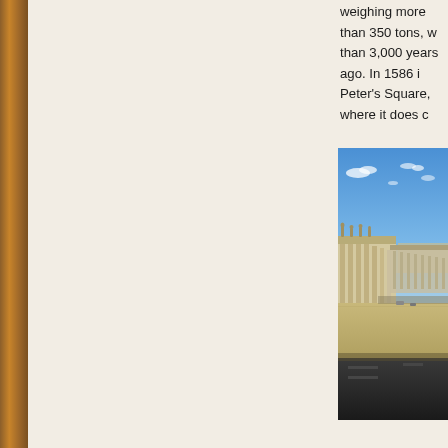weighing more than 350 tons, w... than 3,000 years ago. In 1586 i... Peter's Square, where it does c...
[Figure (photo): Photograph of St. Peter's Square, Vatican, showing the colonnade with statues on top, a large open piazza, blue sky with scattered clouds, and a dark road/barrier in the foreground.]